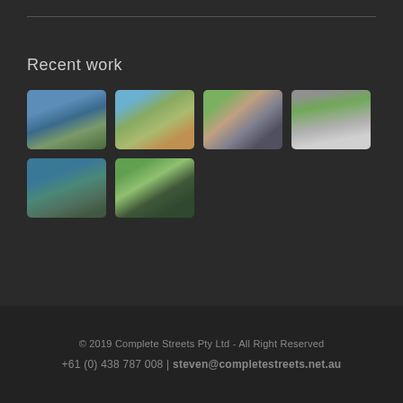Recent work
[Figure (photo): Aerial view of Sydney Harbour with bridge and water]
[Figure (photo): Aerial view of suburban roads and vegetation]
[Figure (photo): Urban street plaza with greenery and pedestrians]
[Figure (photo): Blurred motion shot of a green train/rail vehicle]
[Figure (photo): Aerial view of wetlands and water]
[Figure (photo): People walking in a park with trees]
© 2019 Complete Streets Pty Ltd - All Right Reserved
+61 (0) 438 787 008 | steven@completestreets.net.au